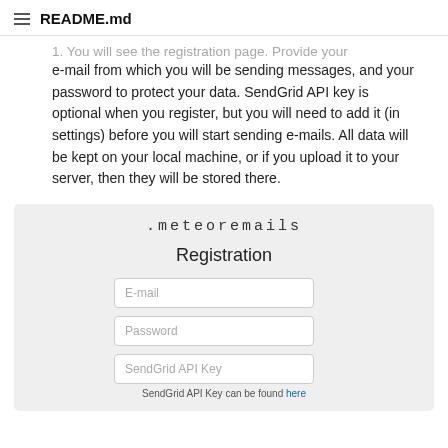README.md
1. You will see the registration page. Provide your e-mail from which you will be sending messages, and your password to protect your data. SendGrid API key is optional when you register, but you will need to add it (in settings) before you will start sending e-mails. All data will be kept on your local machine, or if you upload it to your server, then they will be stored there.
[Figure (screenshot): Screenshot of the meteoremails app Registration page, showing fields for E-mail, Password, and SendGrid API Key, with a note that SendGrid API Key can be found here.]